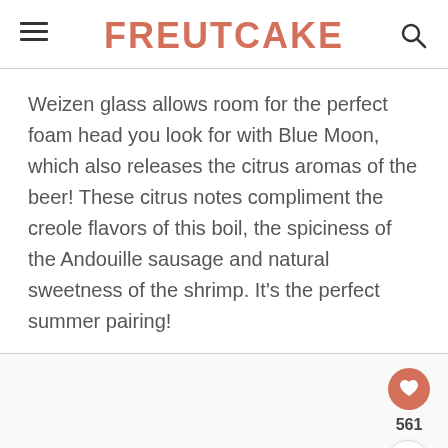FREUTCAKE
Weizen glass allows room for the perfect foam head you look for with Blue Moon, which also releases the citrus aromas of the beer! These citrus notes compliment the creole flavors of this boil, the spiciness of the Andouille sausage and natural sweetness of the shrimp. It's the perfect summer pairing!